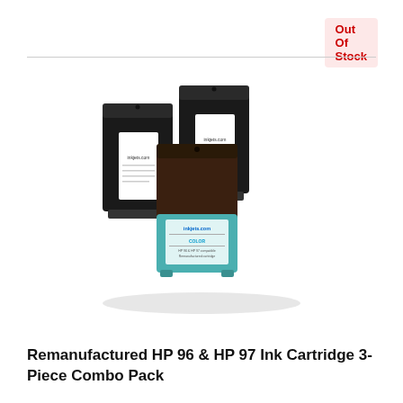Out Of Stock
[Figure (photo): Three remanufactured HP ink cartridges arranged together: two black cartridges in the back and one color (cyan/teal) cartridge in the front, all with inkjets.com branded labels.]
Remanufactured HP 96 & HP 97 Ink Cartridge 3-Piece Combo Pack